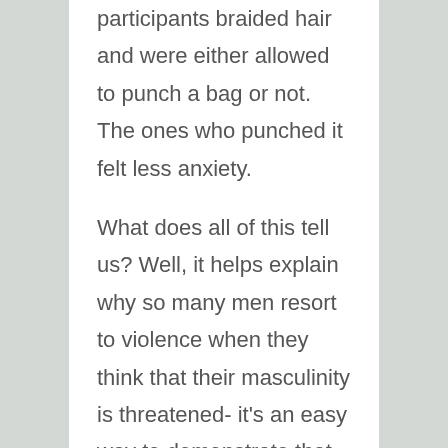participants braided hair and were either allowed to punch a bag or not. The ones who punched it felt less anxiety.

What does all of this tell us? Well, it helps explain why so many men resort to violence when they think that their masculinity is threatened- it's an easy way to demonstrate that they're in the Box. And it also shows how delicate masculinity can be. If all